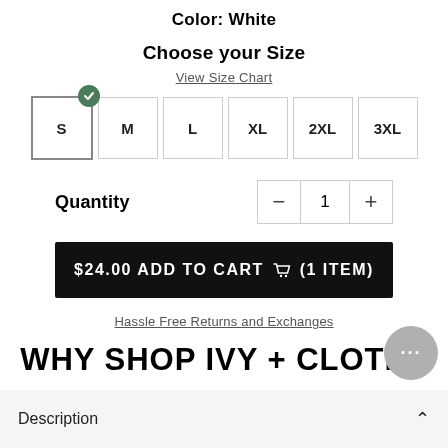Color: White
Choose your Size
View Size Chart
S  M  L  XL  2XL  3XL
Quantity  −  1  +
$24.00 ADD TO CART 🛒 (1 ITEM)
Hassle Free Returns and Exchanges
WHY SHOP IVY + CLOTH?
USA OWNED AND OPERATED   FREE SHIPPING ON ORDERS OVER $100   HASSLE FREE RETURNS
Description